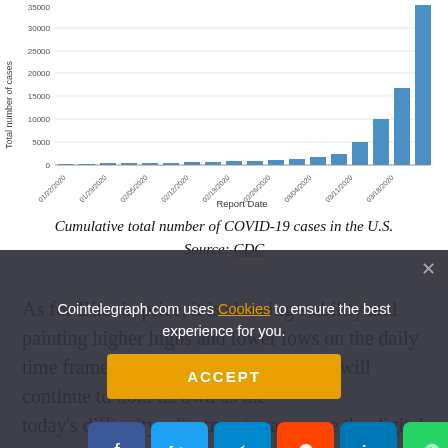[Figure (bar-chart): Cumulative total number of COVID-19 cases in the U.S.]
Cumulative total number of COVID-19 cases in the U.S.
Source: CDC
As for Bitcoin price, it is showing stability and painting higher highs and lower lows on the daily time frame. It seems likely that Bitcoin will continue to hold its own as the today's difficulty adjustment may cause the digital asset to lose value as mining becomes cheaper.